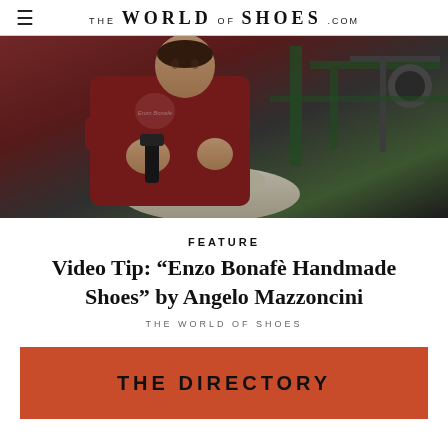THE WORLD OF SHOES .com
[Figure (photo): A craftsman in a dark red polo shirt working with a tool on a shoe last, with industrial machinery in the background.]
FEATURE
Video Tip: “Enzo Bonafè Handmade Shoes” by Angelo Mazzoncini
THE WORLD OF SHOES
THE DIRECTORY